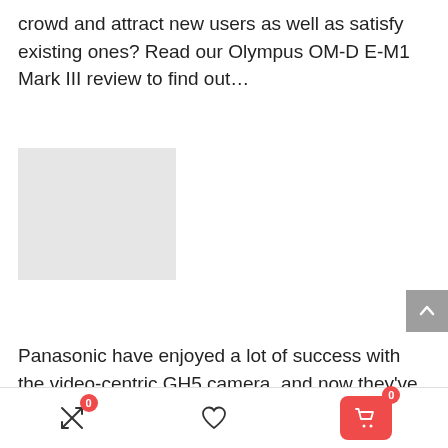crowd and attract new users as well as satisfy existing ones? Read our Olympus OM-D E-M1 Mark III review to find out…
[Figure (photo): Light gray placeholder image rectangle]
Panasonic have enjoyed a lot of success with the video-centric GH5 camera, and now they've turned their attention to the enthusiast and professional
0 [compare icon]  [heart icon]  0 [cart icon]